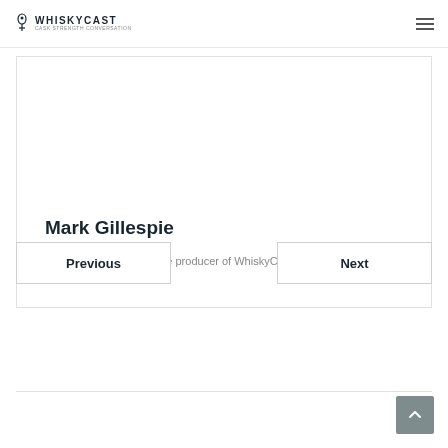WhiskyCast — Cask Strength Conversation
Mark Gillespie
I'm the host and executive producer of WhiskyCast.
Previous
Next